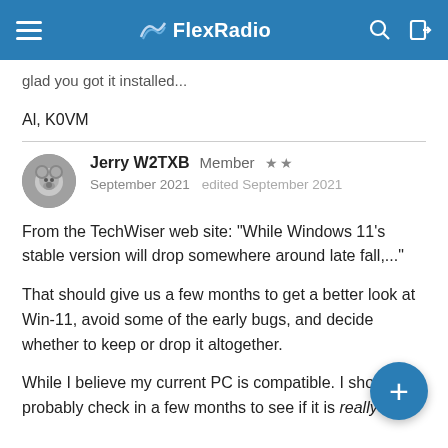FlexRadio
glad you got it installed...
Al, K0VM
Jerry W2TXB  Member  ★★
September 2021   edited September 2021
From the TechWiser web site: "While Windows 11's stable version will drop somewhere around late fall,..."
That should give us a few months to get a better look at Win-11, avoid some of the early bugs, and decide whether to keep or drop it altogether.
While I believe my current PC is compatible. I should probably check in a few months to see if it is really